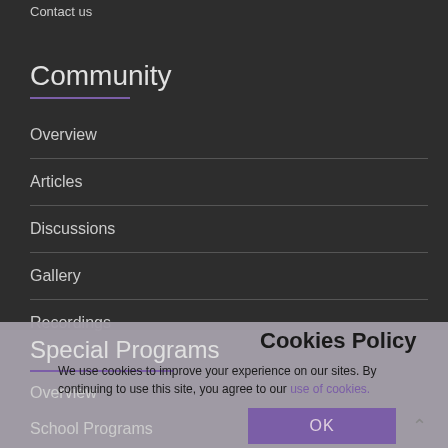Contact us
Community
Overview
Articles
Discussions
Gallery
Recordings
Special Programs
Overview
School Programs
Cookies Policy
We use cookies to improve your experience on our sites. By continuing to use this site, you agree to our use of cookies.
OK